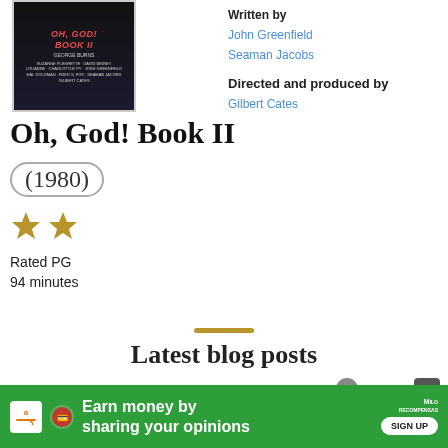[Figure (photo): Movie poster for Oh, God! Book II featuring George Burns, dark background with red title text]
Written by
John Greenfield
Seaman Jacobs
Directed and produced by
Gilbert Cates
Oh, God! Book II
(1980)
[Figure (other): Two gold star rating icons]
Rated PG
94 minutes
Latest blog posts
[Figure (photo): Blog post thumbnail image, dark]
[Figure (photo): Blog post thumbnail image, right side]
[Figure (other): Advertisement banner: Earn money by sharing your opinions - Amazon/MiloRecompensas sign up]